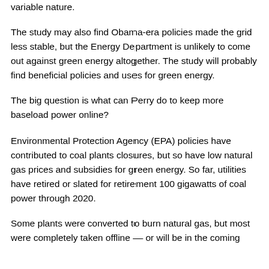variable nature.
The study may also find Obama-era policies made the grid less stable, but the Energy Department is unlikely to come out against green energy altogether. The study will probably find beneficial policies and uses for green energy.
The big question is what can Perry do to keep more baseload power online?
Environmental Protection Agency (EPA) policies have contributed to coal plants closures, but so have low natural gas prices and subsidies for green energy. So far, utilities have retired or slated for retirement 100 gigawatts of coal power through 2020.
Some plants were converted to burn natural gas, but most were completely taken offline — or will be in the coming